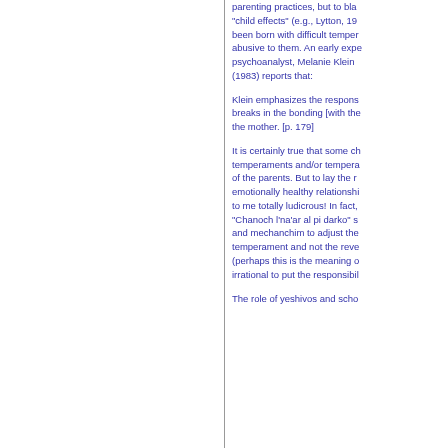parenting practices, but to blame "child effects" (e.g., Lytton, 19... been born with difficult temper... abusive to them. An early expe... psychoanalyst, Melanie Klein ... (1983) reports that:
Klein emphasizes the respons... breaks in the bonding [with the... the mother. [p. 179]
It is certainly true that some ch... temperaments and/or tempera... of the parents. But to lay the r... emotionally healthy relationshi... to me totally ludicrous! In fact, "Chanoch l'na'ar al pi darko" s... and mechanchim to adjust the... temperament and not the reve... (perhaps this is the meaning o... irrational to put the responsibil...
The role of yeshivos and scho...